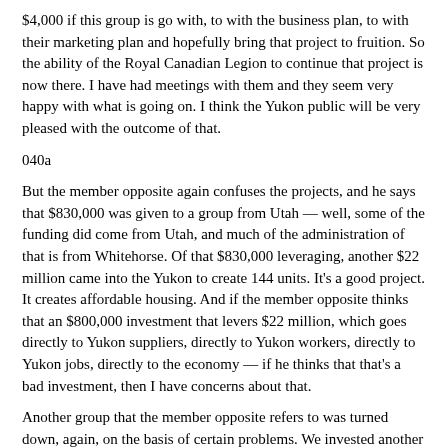$4,000 if this group is go with, to with the business plan, to with their marketing plan and hopefully bring that project to fruition. So the ability of the Royal Canadian Legion to continue that project is now there. I have had meetings with them and they seem very happy with what is going on. I think the Yukon public will be very pleased with the outcome of that.
040a
But the member opposite again confuses the projects, and he says that $830,000 was given to a group from Utah — well, some of the funding did come from Utah, and much of the administration of that is from Whitehorse. Of that $830,000 leveraging, another $22 million came into the Yukon to create 144 units. It's a good project. It creates affordable housing. And if the member opposite thinks that an $800,000 investment that levers $22 million, which goes directly to Yukon suppliers, directly to Yukon workers, directly to Yukon jobs, directly to the economy — if he thinks that that's a bad investment, then I have concerns about that.
Another group that the member opposite refers to was turned down, again, on the basis of certain problems. We invested another $20,000 for BDO Dunwoody to do a complete tear-down on that business plan and to give assistance in how that could be addressed and how things could be made to work. Mr. Deputy Speaker, to my knowledge, that has never been addressed and nothing really has